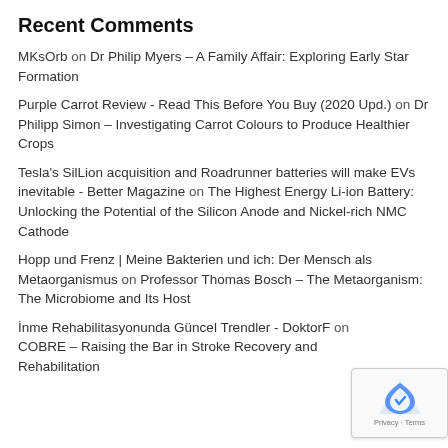Recent Comments
MKsOrb on Dr Philip Myers – A Family Affair: Exploring Early Star Formation
Purple Carrot Review - Read This Before You Buy (2020 Upd.) on Dr Philipp Simon – Investigating Carrot Colours to Produce Healthier Crops
Tesla's SilLion acquisition and Roadrunner batteries will make EVs inevitable - Better Magazine on The Highest Energy Li-ion Battery: Unlocking the Potential of the Silicon Anode and Nickel-rich NMC Cathode
Hopp und Frenz | Meine Bakterien und ich: Der Mensch als Metaorganismus on Professor Thomas Bosch – The Metaorganism: The Microbiome and Its Host
İnme Rehabilitasyonunda Güncel Trendler - DoktorF on COBRE – Raising the Bar in Stroke Recovery and Rehabilitation